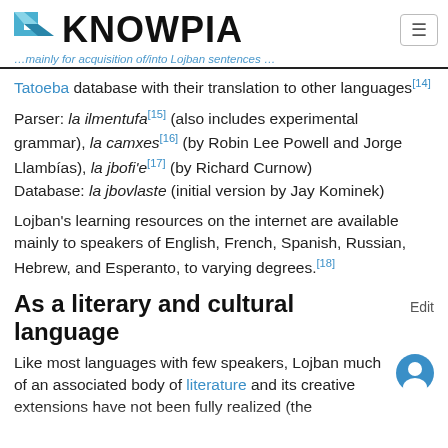KNOWPIA
Tatoeba database with their translation to other languages[14]
Parser: la ilmentufa[15] (also includes experimental grammar), la camxes[16] (by Robin Lee Powell and Jorge Llambías), la jbofi'e[17] (by Richard Curnow) Database: la jbovlaste (initial version by Jay Kominek)
Lojban's learning resources on the internet are available mainly to speakers of English, French, Spanish, Russian, Hebrew, and Esperanto, to varying degrees.[18]
As a literary and cultural language
Like most languages with few speakers, Lojban much of an associated body of literature and its creative extensions have not been fully realized (the